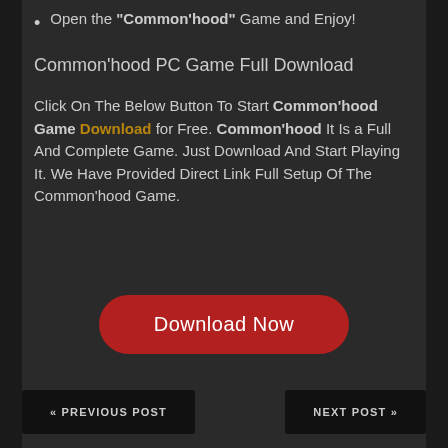Open the “Common’hood” Game and Enjoy!
Common’hood PC Game Full Download
Click On The Below Button To Start Common’hood Game Download for Free. Common’hood It Is a Full And Complete Game. Just Download And Start Playing It. We Have Provided Direct Link Full Setup Of The Common’hood Game.
[Figure (other): Red rounded-rectangle Download Now button]
« PREVIOUS POST   NEXT POST »